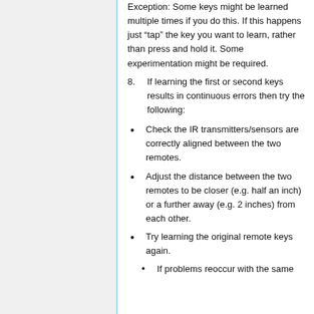Exception: Some keys might be learned multiple times if you do this. If this happens just “tap” the key you want to learn, rather than press and hold it. Some experimentation might be required.
8. If learning the first or second keys results in continuous errors then try the following:
Check the IR transmitters/sensors are correctly aligned between the two remotes.
Adjust the distance between the two remotes to be closer (e.g. half an inch) or a further away (e.g. 2 inches) from each other.
Try learning the original remote keys again.
If problems reoccur with the same